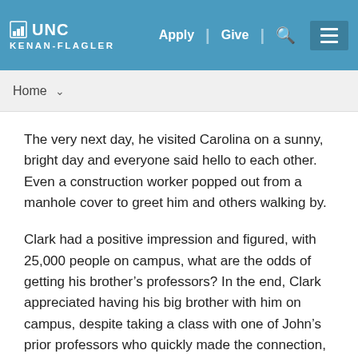UNC KENAN-FLAGLER | Apply | Give
Home
The very next day, he visited Carolina on a sunny, bright day and everyone said hello to each other. Even a construction worker popped out from a manhole cover to greet him and others walking by.
Clark had a positive impression and figured, with 25,000 people on campus, what are the odds of getting his brother’s professors? In the end, Clark appreciated having his big brother with him on campus, despite taking a class with one of John’s prior professors who quickly made the connection, to Clark’s chagrin.
“Shadow or not, he was always my best friend,” says Clark